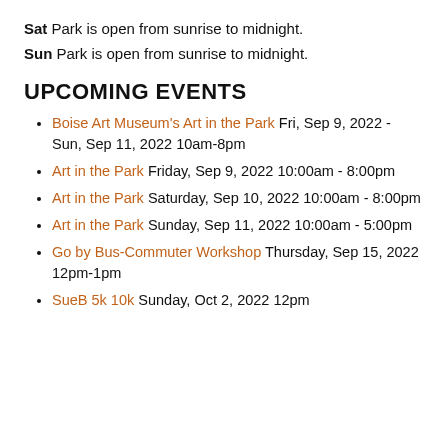Sat Park is open from sunrise to midnight.
Sun Park is open from sunrise to midnight.
UPCOMING EVENTS
Boise Art Museum's Art in the Park  Fri, Sep 9, 2022 - Sun, Sep 11, 2022 10am-8pm
Art in the Park  Friday, Sep 9, 2022 10:00am - 8:00pm
Art in the Park  Saturday, Sep 10, 2022 10:00am - 8:00pm
Art in the Park  Sunday, Sep 11, 2022 10:00am - 5:00pm
Go by Bus-Commuter Workshop  Thursday, Sep 15, 2022 12pm-1pm
SueB 5k 10k  Sunday, Oct 2, 2022 12pm